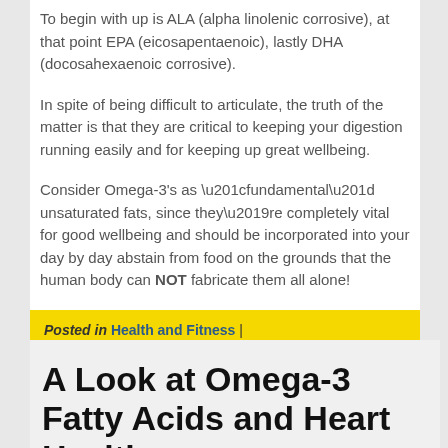To begin with up is ALA (alpha linolenic corrosive), at that point EPA (eicosapentaenoic), lastly DHA (docosahexaenoic corrosive).
In spite of being difficult to articulate, the truth of the matter is that they are critical to keeping your digestion running easily and for keeping up great wellbeing.
Consider Omega-3's as “fundamental” unsaturated fats, since they’re completely vital for good wellbeing and should be incorporated into your day by day abstain from food on the grounds that the human body can NOT fabricate them all alone!
Posted in Health and Fitness |
A Look at Omega-3 Fatty Acids and Heart Health
Posted on JULY 20, 2020 by BLUE